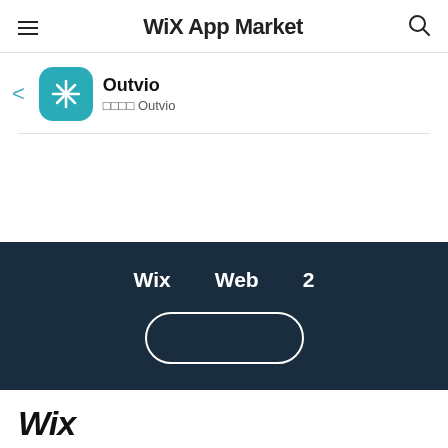WiX App Market
[Figure (screenshot): Outvio app listing page on Wix App Market showing app icon, name, back arrow, dark footer section with Wix, Web, 2 labels and pill button, and Wix logo at bottom]
Outvio
□□□□ Outvio
Wix   Web   2
Wix